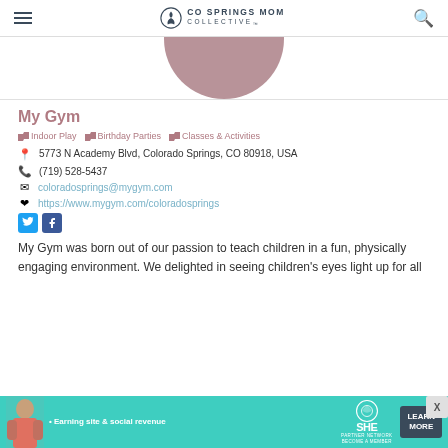CO SPRINGS MOM COLLECTIVE
[Figure (photo): Circular cropped profile photo with mauve/rose background color, partially visible at top of content card]
My Gym
Indoor Play   Birthday Parties   Classes & Activities
5773 N Academy Blvd, Colorado Springs, CO 80918, USA
(719) 528-5437
coloradosprings@mygym.com
https://www.mygym.com/coloradosprings
My Gym was born out of our passion to teach children in a fun, physically engaging environment. We delighted in seeing children's eyes light up for all
[Figure (infographic): SHE Partner Network advertisement banner - green background with woman, text 'Earning site & social revenue', SHE logo, LEARN MORE button]